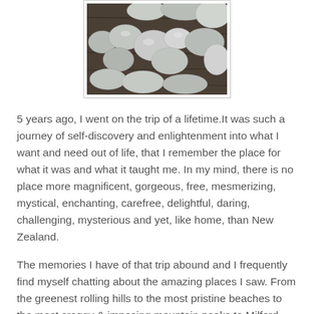[Figure (photo): Photo of smooth rounded grey stones/pebbles arranged on a dark wooden surface, viewed from above. Photo is framed with a thin border.]
5 years ago, I went on the trip of a lifetime.It was such a journey of self-discovery and enlightenment into what I want and need out of life, that I remember the place for what it was and what it taught me. In my mind, there is no place more magnificent, gorgeous, free, mesmerizing, mystical, enchanting, carefree, delightful, daring, challenging, mysterious and yet, like home, than New Zealand.
The memories I have of that trip abound and I frequently find myself chatting about the amazing places I saw. From the greenest rolling hills to the most pristine beaches to the most craggy & imposing mountain peaks to Milford Sound (look it up on the InterGoogle) every twist and turn brought me closer to peace. The thing that I remember most are the friendly and welcoming people. The Kiwis have the most